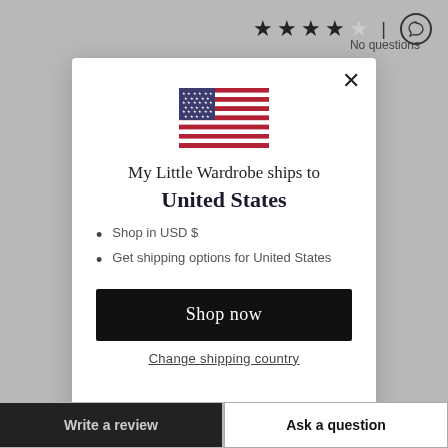[Figure (screenshot): Background page showing star rating and 'No questions' text, with 'Write a review' and 'Ask a question' buttons at bottom]
[Figure (illustration): US flag inline SVG in modal dialog]
My Little Wardrobe ships to
United States
Shop in USD $
Get shipping options for United States
Shop now
Change shipping country